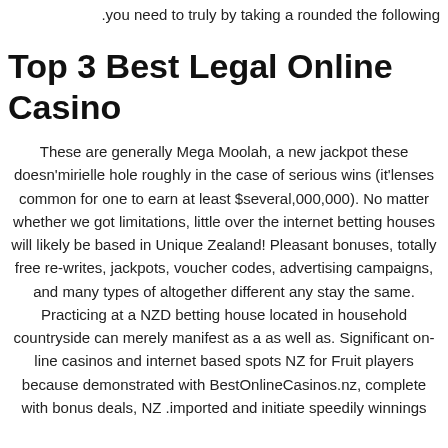.you need to truly by taking a rounded the following
Top 3 Best Legal Online Casino
These are generally Mega Moolah, a new jackpot these doesn'mirielle hole roughly in the case of serious wins (it'lenses common for one to earn at least $several,000,000). No matter whether we got limitations, little over the internet betting houses will likely be based in Unique Zealand! Pleasant bonuses, totally free re-writes, jackpots, voucher codes, advertising campaigns, and many types of altogether different any stay the same. Practicing at a NZD betting house located in household countryside can merely manifest as a as well as. Significant on-line casinos and internet based spots NZ for Fruit players because demonstrated with BestOnlineCasinos.nz, complete with bonus deals, NZ .imported and initiate speedily winnings